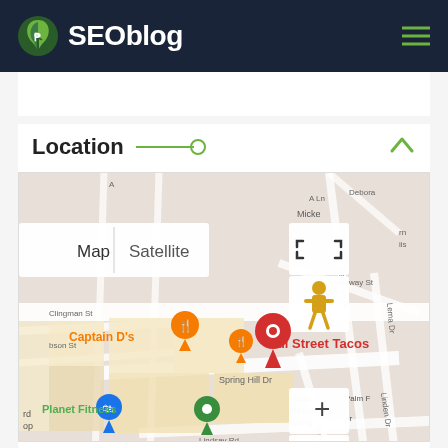SEOblog
Location
[Figure (map): Google Maps screenshot showing local area with map pins for Captain D's (orange), Cali Street Tacos (red, selected), Planet Fitness (green), and other nearby locations. Shows street names including Clingman St, Spring Hill Dr, Lindsay Rd, Deborah Dr, Linden Dr, Deering Ave. Map controls include Map/Satellite toggle, zoom +/-, street view person icon, and fullscreen icon. Footer shows Google logo, Superior Concrete Slabs, Keyboard shortcuts, Map data ©2022, Terms of Use.]